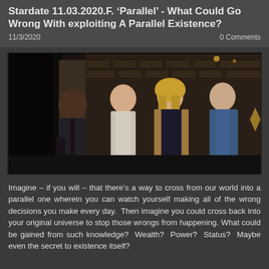Stardate 11.03.2020.F. 'Parallel' - What Could Go Wrong With exploiting A Parallel Existence?
11/3/2020   0 Comments
[Figure (photo): Four people standing in a dimly lit room with brick walls. From left: a Black man in a dark leather jacket, a young white man in a light button-up shirt, a blonde woman with glasses in a dark outfit with a cardigan, and another young man in a blue hoodie.]
Imagine – if you will – that there's a way to cross from our world into a parallel one wherein you can watch yourself making all of the wrong decisions you make every day.  Then imagine you could cross back into your original universe to stop those wrongs from happening. What could be gained from such knowledge?  Wealth?  Power?  Status?  Maybe even the secret to existence itself?